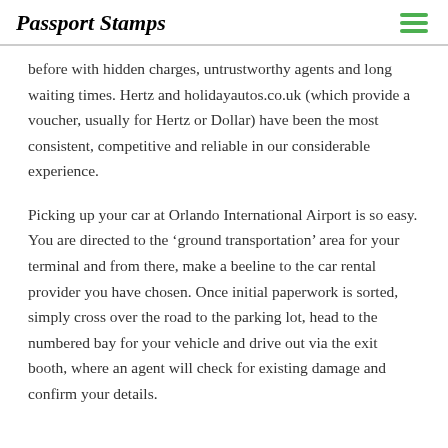Passport Stamps
before with hidden charges, untrustworthy agents and long waiting times. Hertz and holidayautos.co.uk (which provide a voucher, usually for Hertz or Dollar) have been the most consistent, competitive and reliable in our considerable experience.
Picking up your car at Orlando International Airport is so easy. You are directed to the ‘ground transportation’ area for your terminal and from there, make a beeline to the car rental provider you have chosen. Once initial paperwork is sorted, simply cross over the road to the parking lot, head to the numbered bay for your vehicle and drive out via the exit booth, where an agent will check for existing damage and confirm your details.